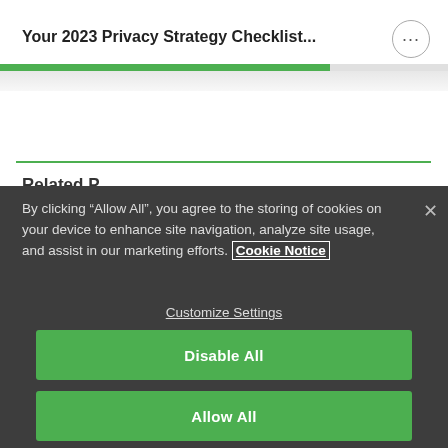Your 2023 Privacy Strategy Checklist...
Related P...
By clicking “Allow All”, you agree to the storing of cookies on your device to enhance site navigation, analyze site usage, and assist in our marketing efforts. Cookie Notice
Customize Settings
Disable All
Allow All